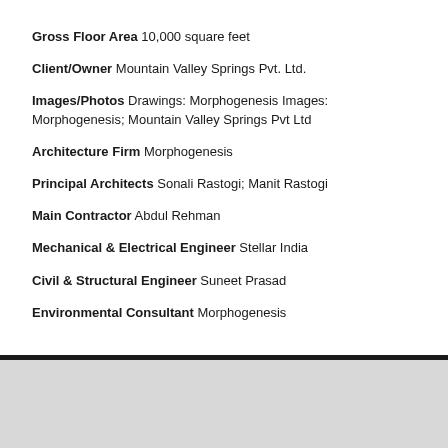Gross Floor Area 10,000 square feet
Client/Owner Mountain Valley Springs Pvt. Ltd.
Images/Photos Drawings: Morphogenesis Images: Morphogenesis; Mountain Valley Springs Pvt Ltd
Architecture Firm Morphogenesis
Principal Architects Sonali Rastogi; Manit Rastogi
Main Contractor Abdul Rehman
Mechanical & Electrical Engineer Stellar India
Civil & Structural Engineer Suneet Prasad
Environmental Consultant Morphogenesis